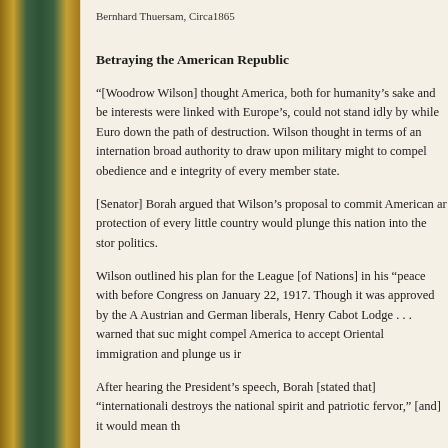Bernhard Thuersam, Circa1865
Betraying the American Republic
“[Woodrow Wilson] thought America, both for humanity’s sake and be interests were linked with Europe’s, could not stand idly by while Euro down the path of destruction. Wilson thought in terms of an internation broad authority to draw upon military might to compel obedience and e integrity of every member state.
[Senator] Borah argued that Wilson’s proposal to commit American ar protection of every little country would plunge this nation into the stor politics.
Wilson outlined his plan for the League [of Nations] in his “peace with before Congress on January 22, 1917. Though it was approved by the A Austrian and German liberals, Henry Cabot Lodge . . . warned that suc might compel America to accept Oriental immigration and plunge us ir
After hearing the President’s speech, Borah [stated that] “internationali destroys the national spirit and patriotic fervor,” [and] it would mean th